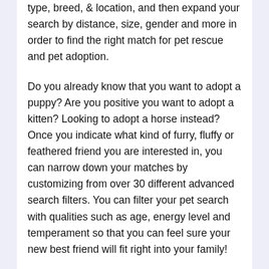type, breed, & location, and then expand your search by distance, size, gender and more in order to find the right match for pet rescue and pet adoption.
Do you already know that you want to adopt a puppy? Are you positive you want to adopt a kitten? Looking to adopt a horse instead? Once you indicate what kind of furry, fluffy or feathered friend you are interested in, you can narrow down your matches by customizing from over 30 different advanced search filters. You can filter your pet search with qualities such as age, energy level and temperament so that you can feel sure your new best friend will fit right into your family!
AllPaws.com is the fastest & easiest way to find your next dog, cat, rabbit or alpaca – with approximately 5, 000 new adoptable animals being added each day. So if you're ready to adopt a pet or are all set to adopt a dog, AllPaws.com is the place for you! Even if you don't find a